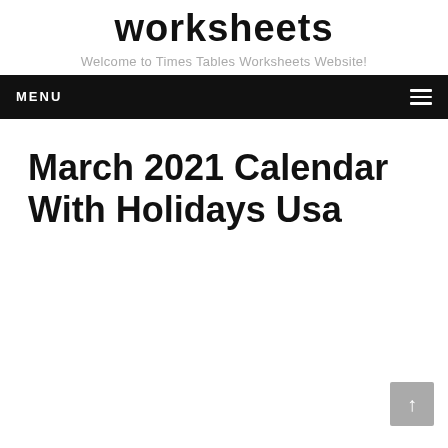worksheets
Welcome to Times Tables Worksheets Website!
MENU
March 2021 Calendar With Holidays Usa